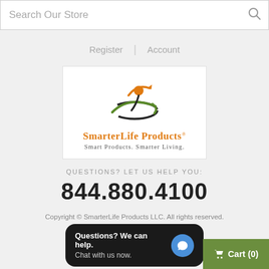Search Our Store
Register | Account
[Figure (logo): SmarterLife Products logo — stylized orange and green figure with arms raised, company name in orange 'SmarterLife Products' with registered trademark, tagline 'Smart Products. Smarter Living.']
QUESTIONS? LET US HELP YOU:
844.880.4100
Copyright © SmarterLife Products LLC. All rights reserved.
Questions? We can help. Chat with us now.
Cart (0)